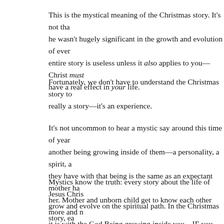This is the mystical meaning of the Christmas story. It's not that he wasn't hugely significant in the growth and evolution of ever entire story is useless unless it also applies to you—Christ must have a real effect in your life.
Fortunately, we don't have to understand the Christmas story to really a story—it's an experience.
It's not uncommon to hear a mystic say around this time of year another being growing inside of them—a personality, a spirit, a they have with that being is the same as an expectant mother ha her. Mother and unborn child get to know each other more and it is with the God Being growing inside you—IF you put your a
Mystics know the truth: every story about the life of Jesus Chris grow and evolve on the spiritual path. In the Christmas story, ea announcement resounds in the very core of our being. What we joy, the awe, and the wonder that Mary felt when she received t